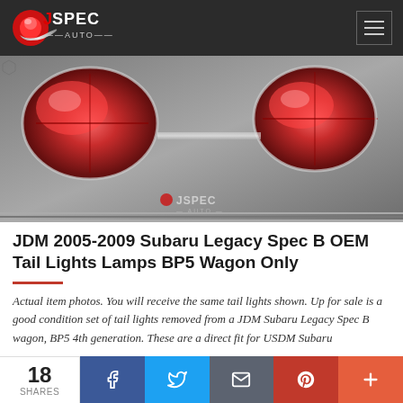JSpec Auto logo and navigation
[Figure (photo): Close-up photo of JDM Subaru Legacy Spec B OEM tail lights on a honeycomb patterned surface, with JSpec Auto watermark logo at bottom center.]
JDM 2005-2009 Subaru Legacy Spec B OEM Tail Lights Lamps BP5 Wagon Only
Actual item photos. You will receive the same tail lights shown. Up for sale is a good condition set of tail lights removed from a JDM Subaru Legacy Spec B wagon, BP5 4th generation. These are a direct fit for USDM Subaru
18 SHARES | Facebook | Twitter | Email | Pinterest | More